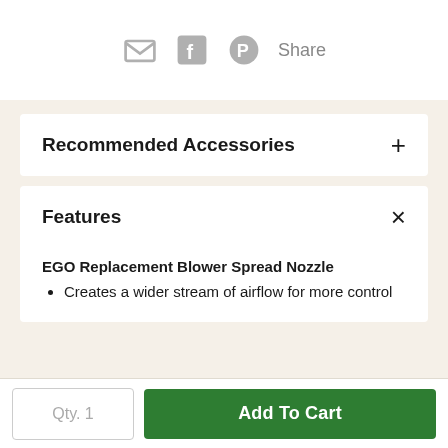[Figure (other): Social share icons: email envelope, Facebook, Pinterest, and 'Share' text label, shown in gray]
Recommended Accessories
Features
EGO Replacement Blower Spread Nozzle
Creates a wider stream of airflow for more control
Qty. 1
Add To Cart